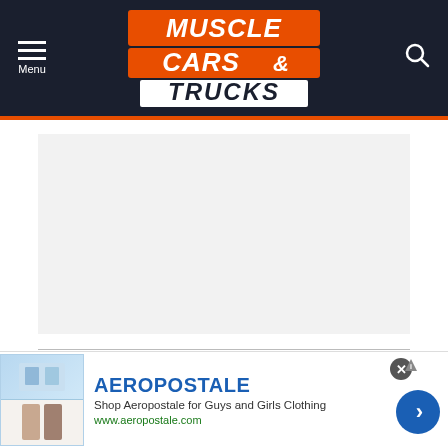Muscle Cars & Trucks — site header with menu and search
[Figure (screenshot): Blank white content placeholder image area below header]
[Figure (screenshot): Advertisement banner: AEROPOSTALE – Shop Aeropostale for Guys and Girls Clothing – www.aeropostale.com]